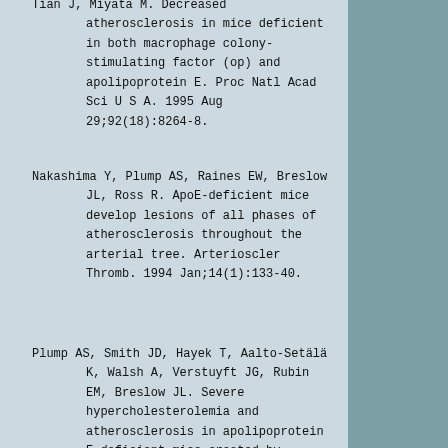Tian J, Miyata M. Decreased atherosclerosis in mice deficient in both macrophage colony-stimulating factor (op) and apolipoprotein E. Proc Natl Acad Sci U S A. 1995 Aug 29;92(18):8264-8.
Nakashima Y, Plump AS, Raines EW, Breslow JL, Ross R. ApoE-deficient mice develop lesions of all phases of atherosclerosis throughout the arterial tree. Arterioscler Thromb. 1994 Jan;14(1):133-40.
Plump AS, Smith JD, Hayek T, Aalto-Setälä K, Walsh A, Verstuyft JG, Rubin EM, Breslow JL. Severe hypercholesterolemia and atherosclerosis in apolipoprotein E-deficient mice created by homologous recombination in ES cells. Cell. 1992 Oct 16;71(2):343-53.
联系我们：service@trophic.cn  投稿邮箱：2225356077@qq.com 关于我们 | www.trophic.cn 备案号：ICP：07506554号 版权所有©  All Rights Reserved©  上海养乐科技有限公司 | 营养共和——您的营养专家 Last updated: July 30, 2012   Created: April 20, 2008